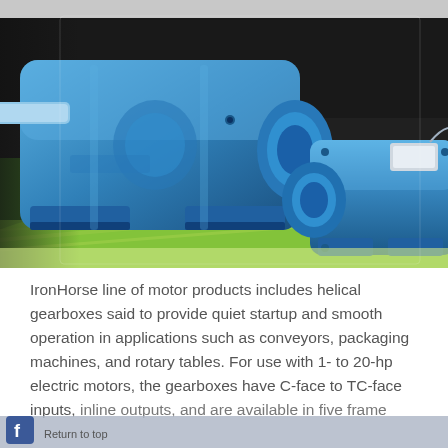[Figure (photo): Blue industrial helical gearboxes from the IronHorse line photographed on a green background. The image shows two gearbox units — a large one on the left with a shaft extending outward, and a smaller one on the right — both painted in blue.]
IronHorse line of motor products includes helical gearboxes said to provide quiet startup and smooth operation in applications such as conveyors, packaging machines, and rotary tables. For use with 1- to 20-hp electric motors, the gearboxes have C-face to TC-face inputs, inline outputs, and are available in five frame...